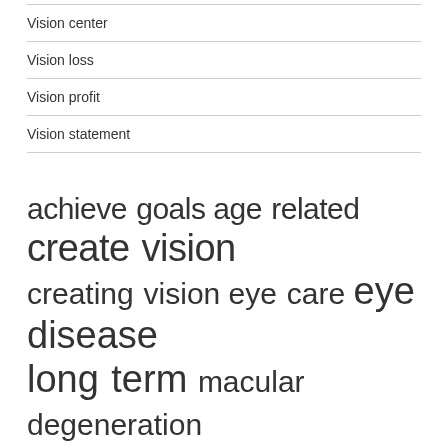Vision center
Vision loss
Vision profit
Vision statement
[Figure (infographic): Tag cloud with words of varying sizes representing frequency/relevance: achieve goals, age related, create vision, creating vision, eye care, eye disease, long term, macular degeneration, payday loans, short term, united states, vision boards, vision center, vision loss, vision statement, visualization board]